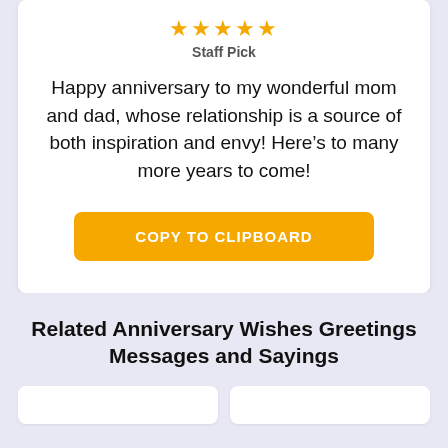[Figure (other): Five gold/orange stars rating]
Staff Pick
Happy anniversary to my wonderful mom and dad, whose relationship is a source of both inspiration and envy! Here's to many more years to come!
[Figure (other): COPY TO CLIPBOARD orange button]
Related Anniversary Wishes Greetings Messages and Sayings